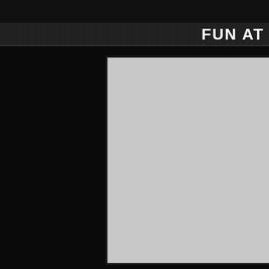FUN AT
[Figure (photo): Large light gray rectangular image panel positioned in the right portion of the page against a black background]